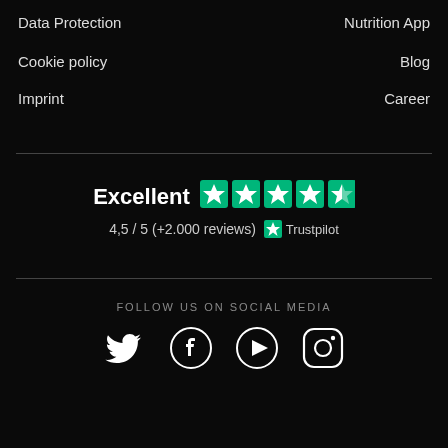Data Protection
Nutrition App
Cookie policy
Blog
Imprint
Career
[Figure (infographic): Trustpilot rating: Excellent 4.5/5 stars with +2.000 reviews]
FOLLOW US ON SOCIAL MEDIA
[Figure (infographic): Social media icons: Twitter, Facebook, YouTube, Instagram]